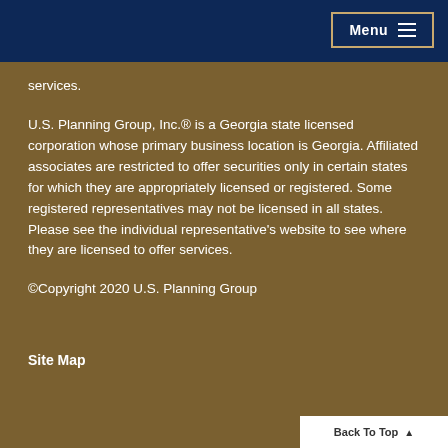Menu
services.
U.S. Planning Group, Inc.® is a Georgia state licensed corporation whose primary business location is Georgia. Affiliated associates are restricted to offer securities only in certain states for which they are appropriately licensed or registered. Some registered representatives may not be licensed in all states. Please see the individual representative's website to see where they are licensed to offer services.
©Copyright 2020 U.S. Planning Group
Site Map
Back To Top